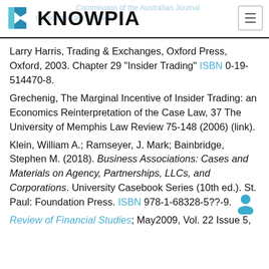KNOWPIA
Larry Harris, Trading & Exchanges, Oxford Press, Oxford, 2003. Chapter 29 "Insider Trading" ISBN 0-19-514470-8.
Grechenig, The Marginal Incentive of Insider Trading: an Economics Reinterpretation of the Case Law, 37 The University of Memphis Law Review 75-148 (2006) (link).
Klein, William A.; Ramseyer, J. Mark; Bainbridge, Stephen M. (2018). Business Associations: Cases and Materials on Agency, Partnerships, LLCs, and Corporations. University Casebook Series (10th ed.). St. Paul: Foundation Press. ISBN 978-1-68328-5??-9.
Review of Financial Studies; May2009, Vol. 22 Issue 5,